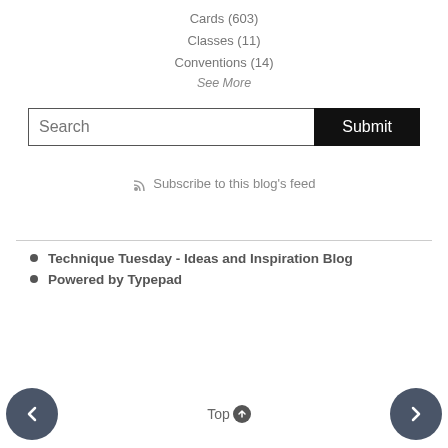Cards (603)
Classes (11)
Conventions (14)
See More
[Figure (other): Search bar with text input field labeled 'Search' and a black 'Submit' button]
Subscribe to this blog's feed
Technique Tuesday - Ideas and Inspiration Blog
Powered by Typepad
Top